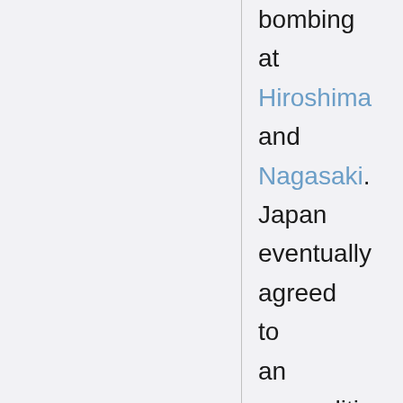bombing at Hiroshima and Nagasaki. Japan eventually agreed to an unconditional surrender to the Allies on